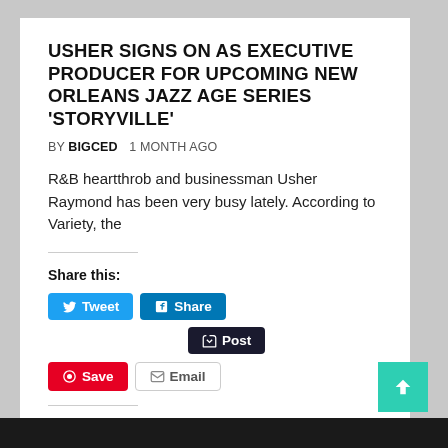USHER SIGNS ON AS EXECUTIVE PRODUCER FOR UPCOMING NEW ORLEANS JAZZ AGE SERIES 'STORYVILLE'
BY BIGCED   1 MONTH AGO
R&B heartthrob and businessman Usher Raymond has been very busy lately. According to Variety, the
Share this:
Like this:
Loading...